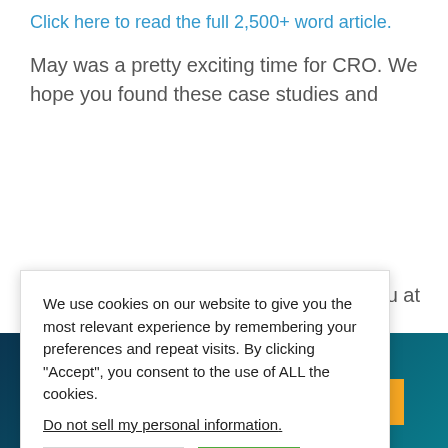Click here to read the full 2,500+ word article.
May was a pretty exciting time for CRO. We hope you found these case studies and
see you at
We use cookies on our website to give you the most relevant experience by remembering your preferences and repeat visits. By clicking “Accept”, you consent to the use of ALL the cookies.
Do not sell my personal information.
? We want
Coaching
es mentor
our email
We’ll increase your conversions by 20-100%
CLAIM YOUR FREE AUDIT NOW